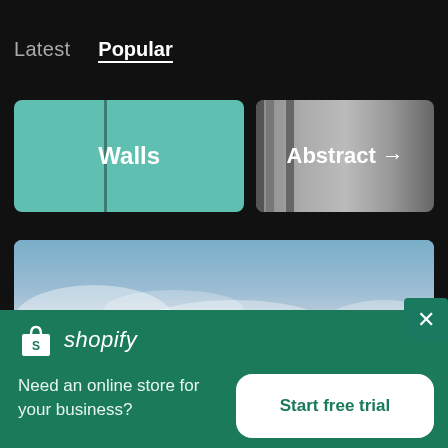Latest  Popular
[Figure (screenshot): Walls category tile with teal/mint colored textured wall background]
[Figure (screenshot): Abstract category tile with dark metallic/abstract background]
[Figure (photo): Blurred sky and clouds panoramic photo]
[Figure (logo): Shopify logo with shopping bag icon and italic shopify text]
Need an online store for your business?
Start free trial